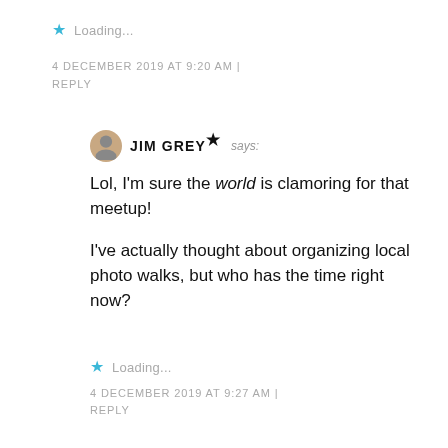★ Loading...
4 DECEMBER 2019 AT 9:20 AM | REPLY
JIM GREY★ says:
Lol, I'm sure the world is clamoring for that meetup!
I've actually thought about organizing local photo walks, but who has the time right now?
★ Loading...
4 DECEMBER 2019 AT 9:27 AM | REPLY